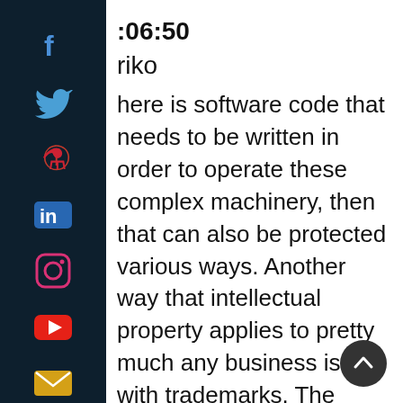[Figure (other): Dark sidebar with social media icons: Facebook, Twitter, Pinterest, LinkedIn, Instagram, YouTube, Email]
:06:50
riko
here is software code that needs to be written in order to operate these complex machinery, then that can also be protected various ways. Another way that intellectual property applies to pretty much any business is with trademarks. The main one that people run into all the time is your company name, like, for example, like when you were starting your, this podcast, the business of business now, is that something that you looked around and you just decided,